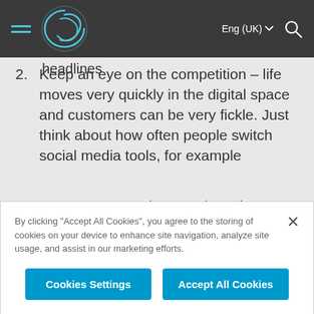Eng (UK)
means to your products and services. A product sold five years ago can still be at threat to your brand if it hits the headlines
2. Keep an eye on the competition – life moves very quickly in the digital space and customers can be very fickle. Just think about how often people switch social media tools, for example
3. Ensure your products and services can be updated for the duration of their life. Design
By clicking "Accept All Cookies", you agree to the storing of cookies on your device to enhance site navigation, analyze site usage, and assist in our marketing efforts.
Cookies Settings   Accept All Cookies